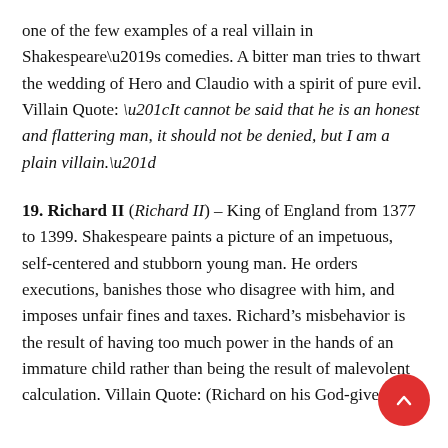one of the few examples of a real villain in Shakespeare's comedies. A bitter man tries to thwart the wedding of Hero and Claudio with a spirit of pure evil. Villain Quote: “It cannot be said that he is an honest and flattering man, it should not be denied, but I am a plain villain.”
19. Richard II (Richard II) – King of England from 1377 to 1399. Shakespeare paints a picture of an impetuous, self-centered and stubborn young man. He orders executions, banishes those who disagree with him, and imposes unfair fines and taxes. Richard’s misbehavior is the result of having too much power in the hands of an immature child rather than being the result of malevolent calculation. Villain Quote: (Richard on his God-given